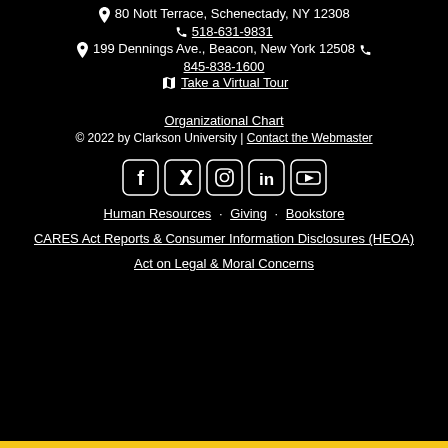📍 80 Nott Terrace, Schenectady, NY 12308
📞 518-631-9831
📍 199 Dennings Ave., Beacon, New York 12508 📞
845-838-1600
🗺 Take a Virtual Tour
Organizational Chart
© 2022 by Clarkson University | Contact the Webmaster
[Figure (infographic): Row of 5 social media icons: Facebook, Twitter, Instagram, LinkedIn, YouTube — white icons on black background inside rounded square outlines]
Human Resources · Giving · Bookstore
CARES Act Reports & Consumer Information Disclosures (HEOA)
Act on Legal & Moral Concerns